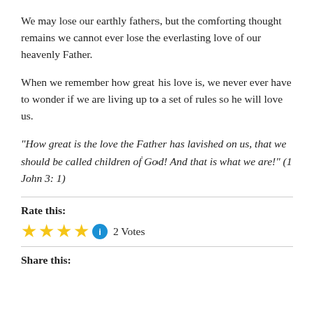We may lose our earthly fathers, but the comforting thought remains we cannot ever lose the everlasting love of our heavenly Father.
When we remember how great his love is, we never ever have to wonder if we are living up to a set of rules so he will love us.
“How great is the love the Father has lavished on us, that we should be called children of God!  And that is what we are!” (1 John 3: 1)
Rate this:
[Figure (other): Four gold/yellow star icons followed by a blue info circle icon and the text '2 Votes']
Share this: